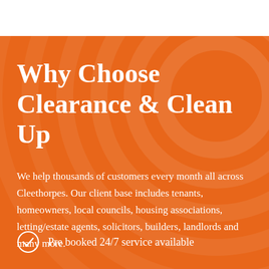Why Choose Clearance & Clean Up
We help thousands of customers every month all across Cleethorpes. Our client base includes tenants, homeowners, local councils, housing associations, letting/estate agents, solicitors, builders, landlords and many more.
Pre booked 24/7 service available